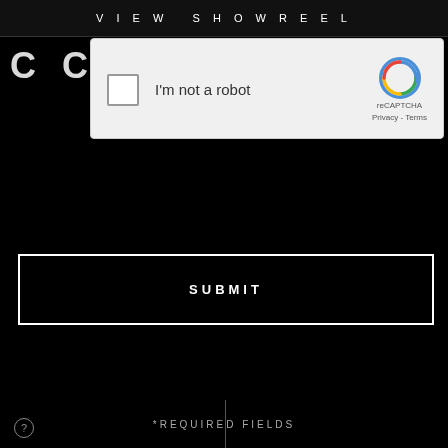VIEW SHOWREEL
C CO
MENU
[Figure (screenshot): reCAPTCHA widget showing checkbox 'I'm not a robot' with reCAPTCHA logo, Privacy and Terms links]
SUBMIT
*REQUIRED FIELDS